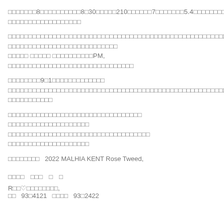□□□□□□□8□□□□□□□□□□8□30□□□□□210□□□□□□7□□□□□□□5.4□□□□□□□□□□□□□□
□□□□□□□□□□□□□□□□□□
□□□□□□□□□□□□□□□□□□□□□□□□□□□□□□□□□□□□□□□□□□□□□□□□□□□□□□□□□□□□□□□□□
□□□□□□□□□□□□□□□□□□□□□□□□□□□
□□□□□ □□□□□ □□□□□□□□□□PM,
□□□□□□□□□□□□□□□□□□□□□□□□□□□□□□□
□□□□□□□□9□1□□□□□□□□□□□□□
□□□□□□□□□□□□□□□□□□□□□□□□□□□□□□□□□□□□□□□□□□□□□□□□□□□□□□□□□□□□□□□□□
□□□□□□□□□□□
□□□□□□□□□□□□□□□□□□□□□□□□□□□□□□□□□
□□□□□□□□□□□□□□□□□□□□
□□□□□□□□□□□□□□□□□□□□□□□□□□□□□□□□□□□
□□□□□□□□□□□□□□□□□□□□
□□□□□□□□   2022 MALHIA KENT Rose Tweed,
□□□□   □□□   □   □
R□□♡□□□□□□□□,
□□   93□4121   □□□□   93□2422